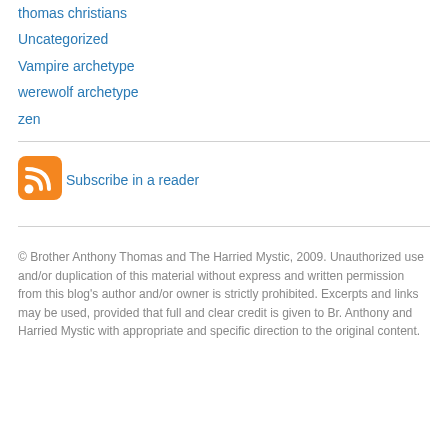thomas christians
Uncategorized
Vampire archetype
werewolf archetype
zen
[Figure (logo): RSS feed orange icon with white signal waves]
Subscribe in a reader
© Brother Anthony Thomas and The Harried Mystic, 2009. Unauthorized use and/or duplication of this material without express and written permission from this blog's author and/or owner is strictly prohibited. Excerpts and links may be used, provided that full and clear credit is given to Br. Anthony and Harried Mystic with appropriate and specific direction to the original content.